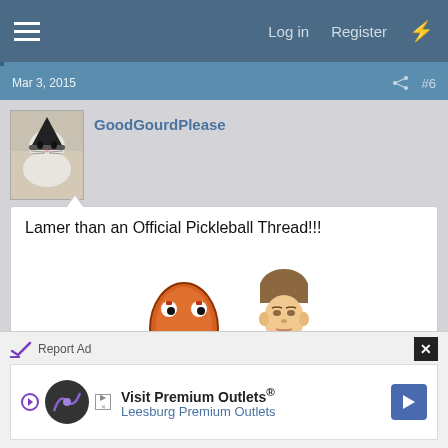Log in  Register
Mar 3, 2015  #6
GoodGourdPlease
[Figure (photo): Avatar photo of user GoodGourdPlease showing a cat wearing a gnome hat]
Lamer than an Official Pickleball Thread!!!
[Figure (illustration): Pixelated orange troll face meme and a photo of Justin Bieber's face partially visible]
Report Ad
Visit Premium Outlets® Leesburg Premium Outlets